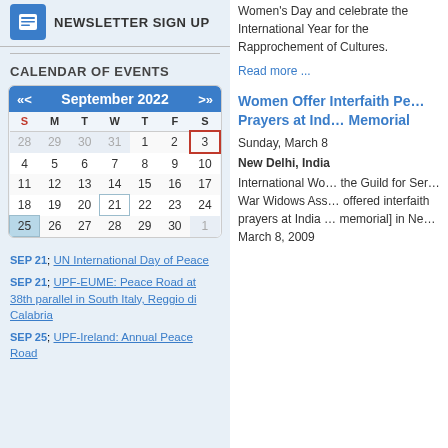[Figure (logo): Newsletter sign up icon with document logo and text NEWSLETTER SIGN UP]
CALENDAR OF EVENTS
[Figure (other): Calendar widget showing September 2022 with navigation arrows, days of week header, and dates 28-30 (greyed from August), 1-30 September, 1 (greyed from October). Date 3 highlighted with red border, 21 and 25 highlighted in blue/teal.]
SEP 21; UN International Day of Peace
SEP 21; UPF-EUME: Peace Road at 38th parallel in South Italy, Reggio di Calabria
SEP 25; UPF-Ireland: Annual Peace Road
Women's Day and celebrate the International Year for the Rapprochement of Cultures.
Read more ...
Women Offer Interfaith Prayers at India Memorial
Sunday, March 8
New Delhi, India
International Women's Day... the Guild for Service, War Widows Association offered interfaith prayers at India [memorial] in New Delhi, March 8, 2009